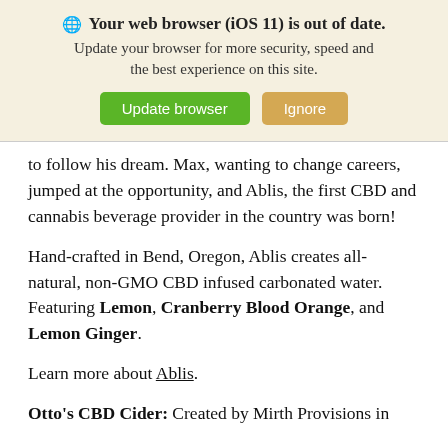[Figure (screenshot): Browser update notification banner with globe icon, bold warning text 'Your web browser (iOS 11) is out of date.', subtitle text, and two buttons: green 'Update browser' and tan 'Ignore']
to follow his dream. Max, wanting to change careers, jumped at the opportunity, and Ablis, the first CBD and cannabis beverage provider in the country was born!
Hand-crafted in Bend, Oregon, Ablis creates all-natural, non-GMO CBD infused carbonated water. Featuring Lemon, Cranberry Blood Orange, and Lemon Ginger.
Learn more about Ablis.
Otto's CBD Cider: Created by Mirth Provisions in